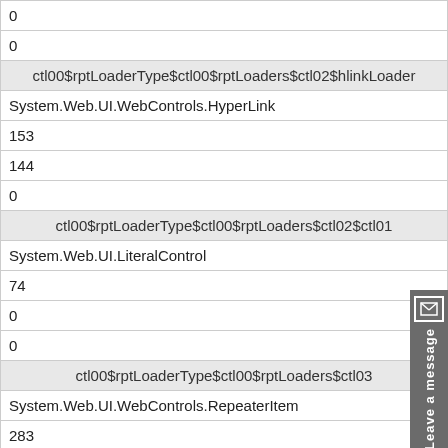| 0 |
| 0 |
| ctl00$rptLoaderType$ctl00$rptLoaders$ctl02$hlinkLoader |
| System.Web.UI.WebControls.HyperLink |
| 153 |
| 144 |
| 0 |
| ctl00$rptLoaderType$ctl00$rptLoaders$ctl02$ctl01 |
| System.Web.UI.LiteralControl |
| 74 |
| 0 |
| 0 |
| ctl00$rptLoaderType$ctl00$rptLoaders$ctl03 |
| System.Web.UI.WebControls.RepeaterItem |
| 283 |
| 0 |